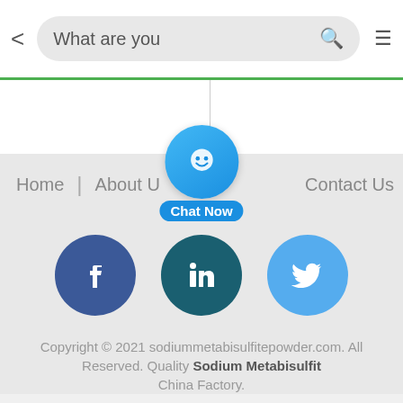[Figure (screenshot): Mobile browser top navigation bar with back arrow, search box showing 'What are you', search icon (green magnifier), and hamburger menu icon]
[Figure (screenshot): Two tab panels with green top border, partially visible content]
[Figure (screenshot): Navigation bar with Home, About Us (partially shown), Contact Us links, and a floating blue chat bubble with smiley face icon and 'Chat Now' label]
[Figure (screenshot): Social media icons row: Facebook (dark blue with f), LinkedIn (dark teal with in), Twitter (sky blue with bird)]
Copyright © 2021 sodiummetabisulfitepowder.com. All Reserved. Quality Sodium Metabisulfit China Factory.